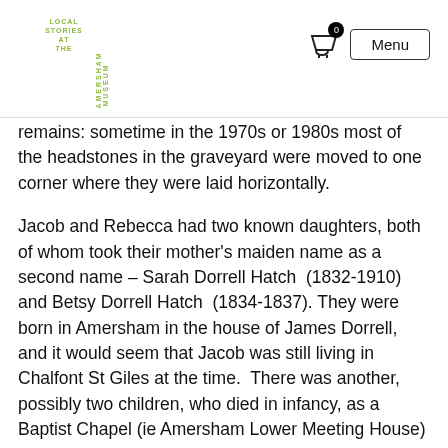LOCAL STORIES AT THE AMERSHAM MUSEUM — Menu
remains: sometime in the 1970s or 1980s most of the headstones in the graveyard were moved to one corner where they were laid horizontally.
Jacob and Rebecca had two known daughters, both of whom took their mother's maiden name as a second name – Sarah Dorrell Hatch (1832-1910) and Betsy Dorrell Hatch (1834-1837). They were born in Amersham in the house of James Dorrell, and it would seem that Jacob was still living in Chalfont St Giles at the time. There was another, possibly two children, who died in infancy, as a Baptist Chapel (ie Amersham Lower Meeting House) monumental inscription refers